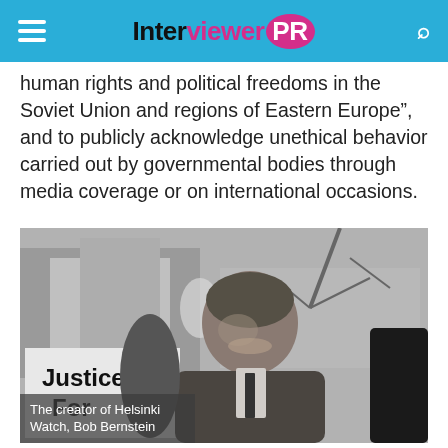Interviewer PR
human rights and political freedoms in the Soviet Union and regions of Eastern Europe”, and to publicly acknowledge unethical behavior carried out by governmental bodies through media coverage or on international occasions.
[Figure (photo): Black and white photograph of Bob Bernstein, creator of Helsinki Watch, smiling at a protest or demonstration. He holds a sign reading 'Justice For' and is wearing a heavy coat. Trees and buildings are visible in the background.]
The creator of Helsinki Watch, Bob Bernstein